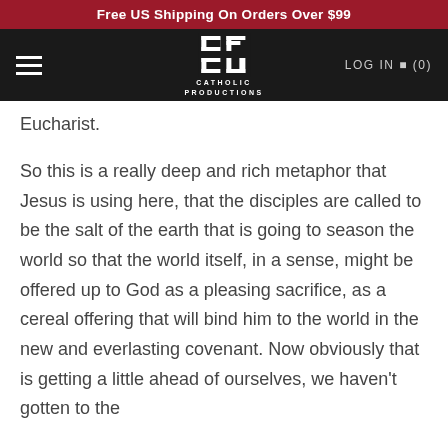Free US Shipping On Orders Over $99
[Figure (logo): Catholic Productions logo — CP cross icon with text CATHOLIC PRODUCTIONS below, white on black navigation bar with hamburger menu on left and LOG IN and cart (0) on right]
Eucharist.
So this is a really deep and rich metaphor that Jesus is using here, that the disciples are called to be the salt of the earth that is going to season the world so that the world itself, in a sense, might be offered up to God as a pleasing sacrifice, as a cereal offering that will bind him to the world in the new and everlasting covenant. Now obviously that is getting a little ahead of ourselves, we haven't gotten to the